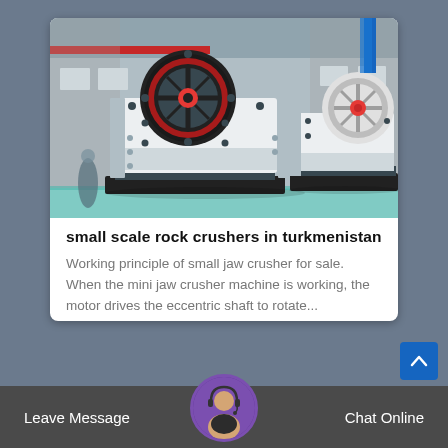[Figure (photo): Two large industrial jaw crusher machines in a factory/warehouse setting. The machines are white and black with red flywheel accents, sitting on the factory floor with industrial ceiling visible above.]
small scale rock crushers in turkmenistan
Working principle of small jaw crusher for sale. When the mini jaw crusher machine is working, the motor drives the eccentric shaft to rotate...
Leave Message   Chat Online